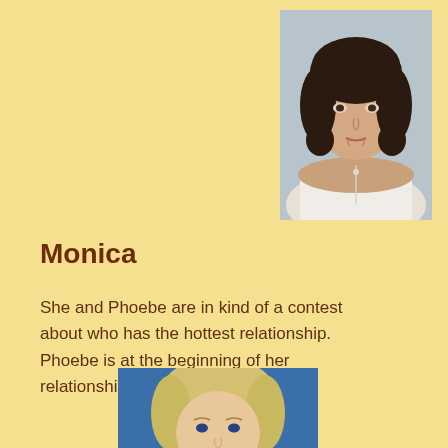[Figure (photo): Portrait photo of a woman with dark short hair wearing a white shirt, positioned in the upper right area of the page.]
Monica
She and Phoebe are in kind of a contest about who has the hottest relationship. Phoebe is at the beginning of her relationship with Gary.
[Figure (photo): Portrait photo of a blonde woman, partially visible, positioned at the bottom center of the page.]